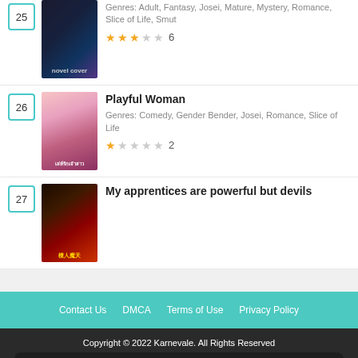25 - Genres: Adult, Fantasy, Josei, Mature, Mystery, Romance, Slice of Life, Smut - Rating: 3/5 stars (6 ratings)
26 - Playful Woman - Genres: Comedy, Gender Bender, Josei, Romance, Slice of Life - Rating: 1/5 stars (2 ratings)
27 - My apprentices are powerful but devils
Contact Us   DMCA   Terms of Use   Privacy Policy
Copyright © 2022 Karnevale. All Rights Reserved
Disclaimer: this site, Karnevale does not store any files on its server. All contents are provided by non-affiliated third parties.
By continuing to use the site, you agree to the use of cookies. more information   Accept